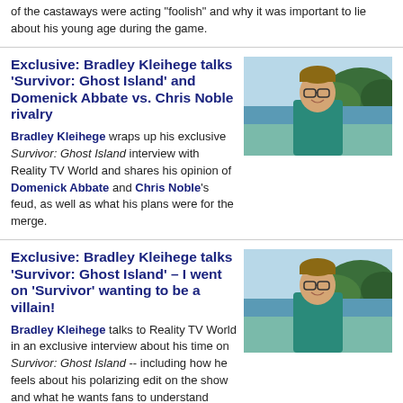of the castaways were acting "foolish" and why it was important to lie about his young age during the game.
Exclusive: Bradley Kleihege talks 'Survivor: Ghost Island' and Domenick Abbate vs. Chris Noble rivalry
[Figure (photo): Photo of Bradley Kleihege, a man with glasses wearing a teal shirt, outdoors with water and trees in background]
Bradley Kleihege wraps up his exclusive Survivor: Ghost Island interview with Reality TV World and shares his opinion of Domenick Abbate and Chris Noble's feud, as well as what his plans were for the merge.
Exclusive: Bradley Kleihege talks 'Survivor: Ghost Island' – I went on 'Survivor' wanting to be a villain!
[Figure (photo): Photo of Bradley Kleihege, a man with glasses wearing a teal shirt, outdoors with water and trees in background]
Bradley Kleihege talks to Reality TV World in an exclusive interview about his time on Survivor: Ghost Island -- including how he feels about his polarizing edit on the show and what he wants fans to understand about his behavior.
Exclusive: James Lim talks 'Survivor: Ghost Island' (Part 2)
[Figure (photo): Photo of James Lim, a young Asian man, outdoors]